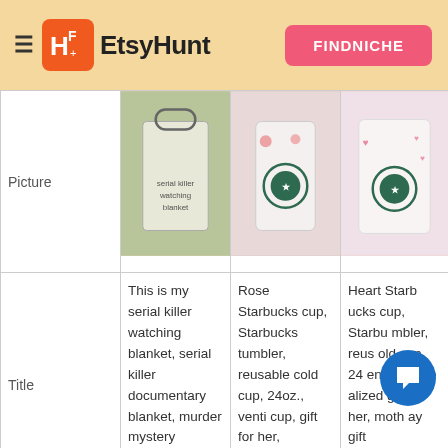EtsyHunt — FINDNICHE
|  | Product 1 | Product 2 | Product 3 |
| --- | --- | --- | --- |
| Picture | [bag image] | [starbucks cup rose] | [starbucks cup hearts] |
| Title | This is my serial killer watching blanket, serial killer documentary blanket, murder mystery watching blanket | Rose Starbucks cup, Starbucks tumbler, reusable cold cup, 24oz., venti cup, gift for her, Mother\u2019s Day | Heart Starbucks cup, Starbucks tumbler, reusable cold cup, 24oz., venti cup, personalized gift, r her, mother's day gift |
| Category Path | Home & Living , Bedding , Blankets & Thro... | Home & Living , Kitchen & Dining , Drink & Barware , Drinkware... | Home & Liv... & D... Bar... Drinkware... |